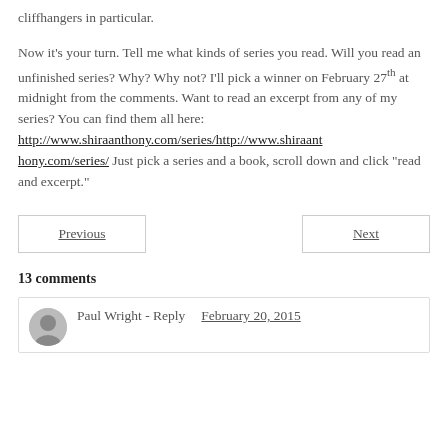cliffhangers in particular.
Now it’s your turn. Tell me what kinds of series you read. Will you read an unfinished series? Why? Why not? I’ll pick a winner on February 27th at midnight from the comments. Want to read an excerpt from any of my series? You can find them all here: http://www.shiraanthony.com/series/http://www.shiraanthony.com/series/ Just pick a series and a book, scroll down and click “read and excerpt.”
Previous
Next
13 comments
Paul Wright - Reply    February 20, 2015